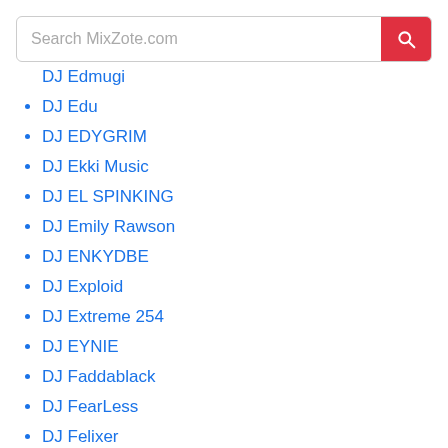DJ Edmugi
DJ Edu
DJ EDYGRIM
DJ Ekki Music
DJ EL SPINKING
DJ Emily Rawson
DJ ENKYDBE
DJ Exploid
DJ Extreme 254
DJ EYNIE
DJ Faddablack
DJ FearLess
DJ Felixer
DJ FESTA